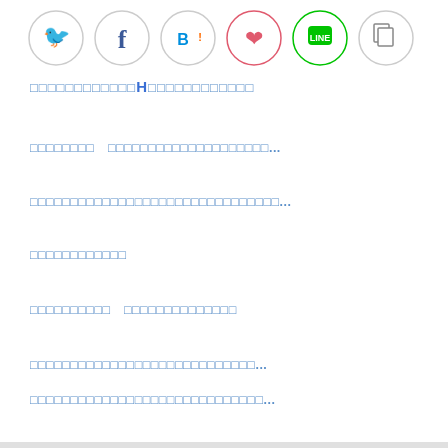[Figure (other): Row of six social media share icons: Twitter (blue bird), Facebook (blue f), Hatena Bookmark (blue B!), Pocket (pink/red heart), LINE (green chat bubble), and a gray copy/document icon]
□□□□□□□□□□□□□H□□□□□□□□□□□□
□□□□□□□□  □□□□□□□□□□□□□□□□□□□□...
□□□□□□□□□□□□□□□□□□□□□□□□□□□□□□□...
□□□□□□□□□□□□
□□□□□□□□□□  □□□□□□□□□□□□□□
□□□□□□□□□□□□□□□□□□□□□□□□□□□□...
□□□□□□□□□□□□□□□□□□□□□□□□□□□□□...
□□□□□□□□□□□□□□□□□□□□□□□□□□□□□...